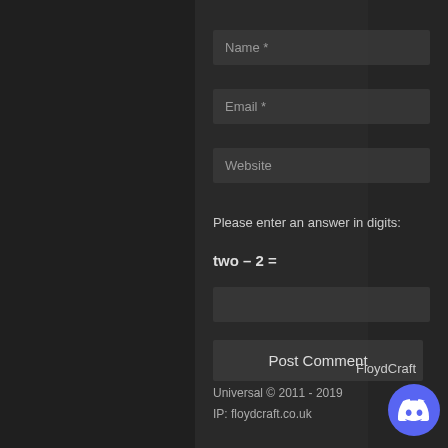[Figure (screenshot): Web comment form on a dark background with fields for Name, Email, Website, a CAPTCHA math question 'two - 2 =', a Post Comment button, and footer text showing FloydCraft / Universal © 2011-2019 / IP: floydcraft.co.uk]
Name *
Email *
Website
Please enter an answer in digits:
Post Comment
FloydCraft
Universal © 2011 - 2019
IP: floydcraft.co.uk